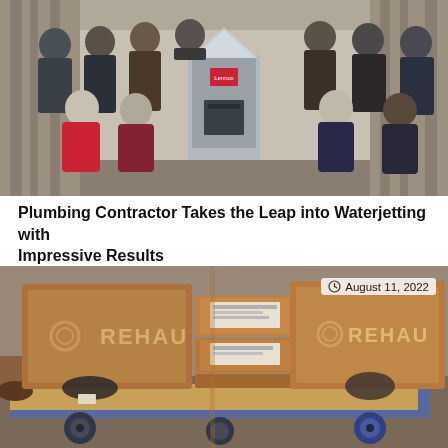[Figure (photo): Group photo of approximately 13 people posing indoors around a large HVAC/furnace unit. Some standing in back row, some kneeling in front. One woman in red jacket on left, another woman in dark top on right side.]
Plumbing Contractor Takes the Leap into Waterjetting with Impressive Results
[Figure (photo): Photo of brown cardboard boxes branded 'REHAU' stacked on a wooden dolly/cart with blue metal frame wheels. The boxes appear to contain plumbing or pipe fittings. A clock icon and date 'August 11, 2022' overlay appears in the top right corner of the image.]